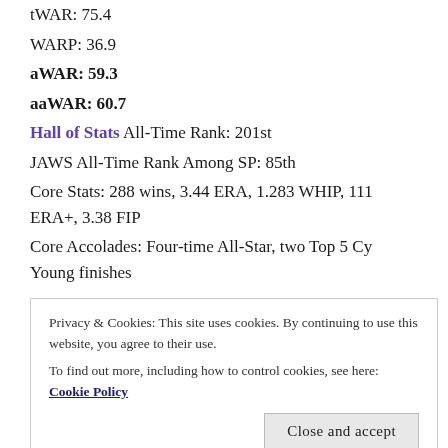tWAR: 75.4
WARP: 36.9
aWAR: 59.3
aaWAR: 60.7
Hall of Stats All-Time Rank: 201st
JAWS All-Time Rank Among SP: 85th
Core Stats: 288 wins, 3.44 ERA, 1.283 WHIP, 111 ERA+, 3.38 FIP
Core Accolades: Four-time All-Star, two Top 5 Cy Young finishes
John is Exhibit A for the Jamie Moyer-type pitcher who simply never stopped pitching and piled up Hall-worthy
Privacy & Cookies: This site uses cookies. By continuing to use this website, you agree to their use.
To find out more, including how to control cookies, see here: Cookie Policy
Chet Lemon